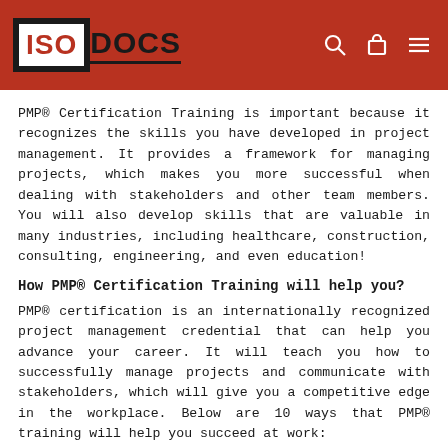ISO DOCS
PMP® Certification Training is important because it recognizes the skills you have developed in project management. It provides a framework for managing projects, which makes you more successful when dealing with stakeholders and other team members. You will also develop skills that are valuable in many industries, including healthcare, construction, consulting, engineering, and even education!
How PMP® Certification Training will help you?
PMP® certification is an internationally recognized project management credential that can help you advance your career. It will teach you how to successfully manage projects and communicate with stakeholders, which will give you a competitive edge in the workplace. Below are 10 ways that PMP® training will help you succeed at work:
1) Helps organize resources